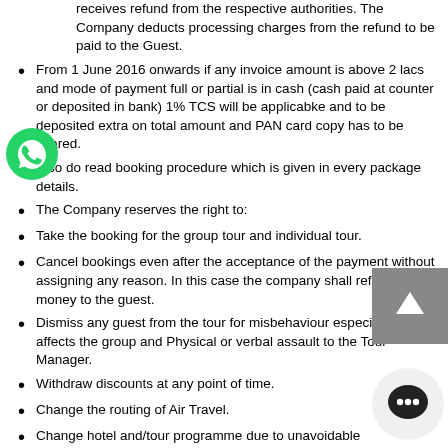receives refund from the respective authorities. The Company deducts processing charges from the refund to be paid to the Guest.
From 1 June 2016 onwards if any invoice amount is above 2 lacs and mode of payment full or partial is in cash (cash paid at counter or deposited in bank) 1% TCS will be applicabke and to be deposited extra on total amount and PAN card copy has to be shared.
Also do read booking procedure which is given in every package details.
The Company reserves the right to:
Take the booking for the group tour and individual tour.
Cancel bookings even after the acceptance of the payment without assigning any reason. In this case the company shall refund the money to the guest.
Dismiss any guest from the tour for misbehaviour especially if it affects the group and Physical or verbal assault to the Tour Manager.
Withdraw discounts at any point of time.
Change the routing of Air Travel.
Change hotel and/tour programme due to unavoidable circumstances.